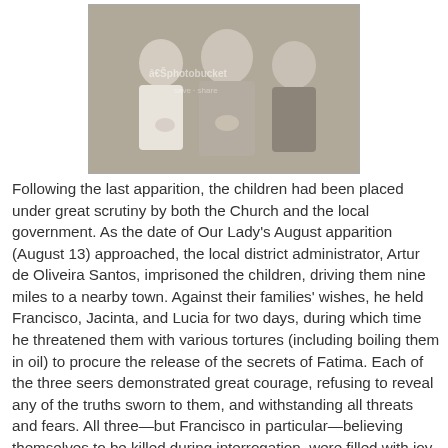[Figure (photo): Black and white photograph of three children, likely the seers of Fatima (Lucia, Jacinta, and Francisco), with a Photobucket watermark overlaid on the image.]
Following the last apparition, the children had been placed under great scrutiny by both the Church and the local government. As the date of Our Lady's August apparition (August 13) approached, the local district administrator, Artur de Oliveira Santos, imprisoned the children, driving them nine miles to a nearby town. Against their families' wishes, he held Francisco, Jacinta, and Lucia for two days, during which time he threatened them with various tortures (including boiling them in oil) to procure the release of the secrets of Fatima. Each of the three seers demonstrated great courage, refusing to reveal any of the truths sworn to them, and withstanding all threats and fears. All three—but Francisco in particular—believing themselves to be killed during interrogation, were filled with joy at the thought of being reunited with Our Blessed Mother in heaven.